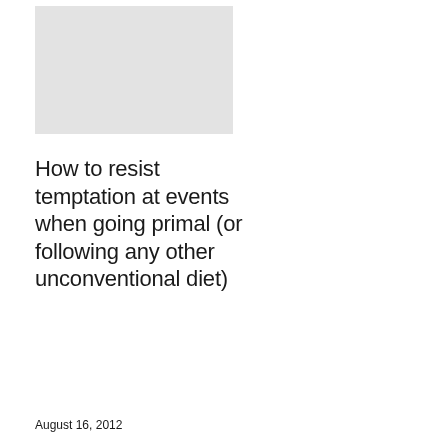[Figure (photo): Light gray placeholder image rectangle]
How to resist temptation at events when going primal (or following any other unconventional diet)
August 16, 2012